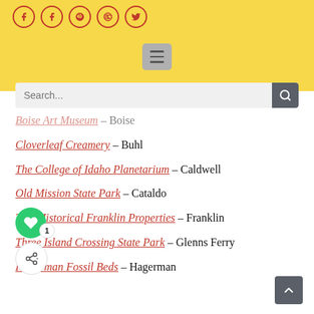Social icons and menu header with search bar
Boise Art Museum – Boise
Cloverleaf Creamery – Buhl
The College of Idaho Planetarium – Caldwell
Old Mission State Park – Cataldo
The Historical Franklin Properties – Franklin
Three Island Crossing State Park – Glenns Ferry
Hagerman Fossil Beds – Hagerman